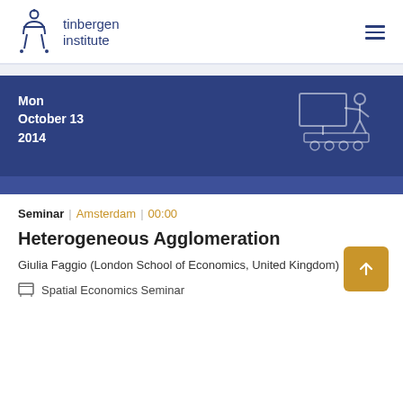tinbergen institute
[Figure (illustration): Blue banner with date Mon October 13 2014 and a line-art illustration of a person presenting at a whiteboard/screen on a wheeled cart, on a dark blue background]
Seminar | Amsterdam | 00:00
Heterogeneous Agglomeration
Giulia Faggio (London School of Economics, United Kingdom)
Spatial Economics Seminar